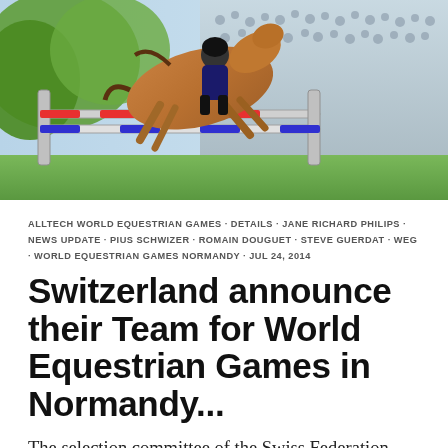[Figure (photo): Action photo of a horse and rider jumping over a show jumping fence, with a crowd in the background. The horse is a chestnut color mid-jump over white and black poles.]
ALLTECH WORLD EQUESTRIAN GAMES · DETAILS · JANE RICHARD PHILIPS · NEWS UPDATE · PIUS SCHWIZER · ROMAIN DOUGUET · STEVE GUERDAT · WEG · WORLD EQUESTRIAN GAMES NORMANDY · JUL 24, 2014
Switzerland announce their Team for World Equestrian Games in Normandy...
The selection committee of the Swiss Federation (SVPS) has announced their selection for the Swiss Team that will attend the 2014 World